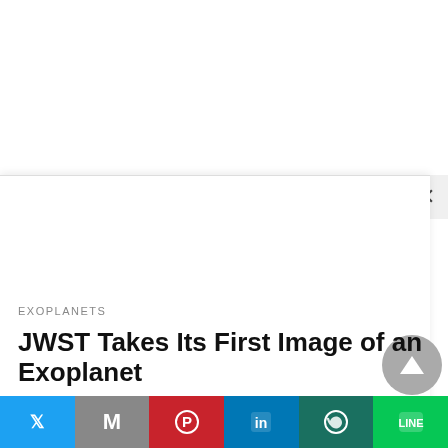[Figure (screenshot): White blank area at top of page, partially covered by a modal/popup overlay with a close button (×) in the top-right corner.]
EXOPLANETS
JWST Takes Its First Image of an Exoplanet
The James Webb Space Telescope has taken its first direct image of an exoplanet, a...
[Figure (infographic): Social sharing bar at the bottom with buttons for Twitter, Gmail (M), Pinterest, LinkedIn, WhatsApp, and LINE.]